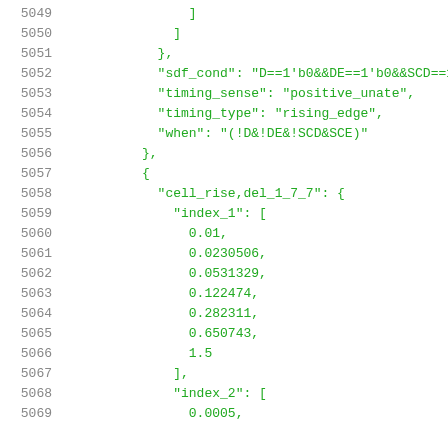5049    ]
5050    ]
5051    },
5052    "sdf_cond": "D==1'b0&&DE==1'b0&&SCD==1'
5053    "timing_sense": "positive_unate",
5054    "timing_type": "rising_edge",
5055    "when": "(!D&!DE&!SCD&SCE)"
5056    },
5057    {
5058    "cell_rise,del_1_7_7": {
5059    "index_1": [
5060    0.01,
5061    0.0230506,
5062    0.0531329,
5063    0.122474,
5064    0.282311,
5065    0.650743,
5066    1.5
5067    ],
5068    "index_2": [
5069    0.0005,